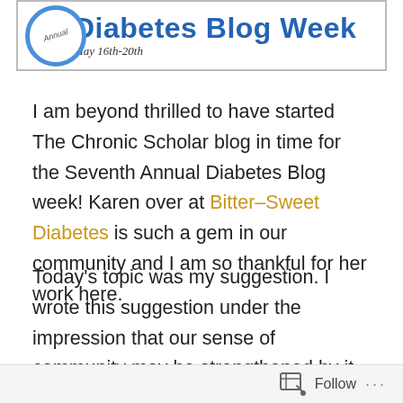[Figure (illustration): Annual Diabetes Blog Week banner with blue circle logo on left, large blue bold text 'Diabetes Blog Week', and italic subtitle 'May 16th-20th']
I am beyond thrilled to have started The Chronic Scholar blog in time for the Seventh Annual Diabetes Blog week! Karen over at Bitter-Sweet Diabetes is such a gem in our community and I am so thankful for her work here.
Today's topic was my suggestion. I wrote this suggestion under the impression that our sense of community may be strengthened by it. Our collective sentiments are representative of our